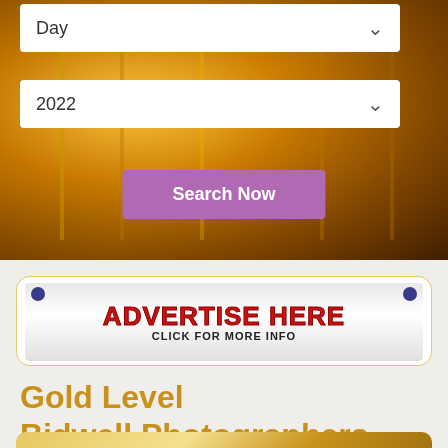[Figure (screenshot): Hero background image showing an ornate building facade with warm orange/amber tones, with two dropdown form fields (Day, 2022) and a purple Search Now button overlaid.]
Day
2022
Search Now
[Figure (illustration): Advertisement banner with white draped banner graphic, blue push-pin icons at top corners, bold red text reading ADVERTISE HERE and black text CLICK FOR MORE INFO, inside a gold-bordered rounded rectangle card.]
Gold Level
Bidwell Photographers